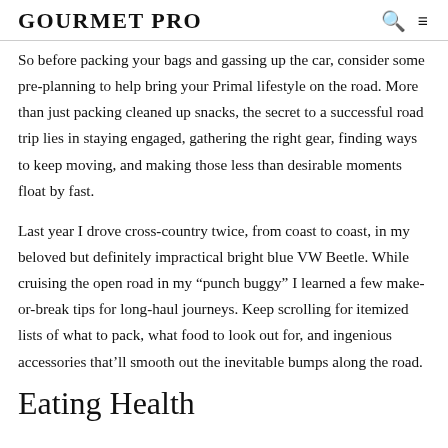GOURMET PRO
So before packing your bags and gassing up the car, consider some pre-planning to help bring your Primal lifestyle on the road. More than just packing cleaned up snacks, the secret to a successful road trip lies in staying engaged, gathering the right gear, finding ways to keep moving, and making those less than desirable moments float by fast.
Last year I drove cross-country twice, from coast to coast, in my beloved but definitely impractical bright blue VW Beetle. While cruising the open road in my “punch buggy” I learned a few make-or-break tips for long-haul journeys. Keep scrolling for itemized lists of what to pack, what food to look out for, and ingenious accessories that’ll smooth out the inevitable bumps along the road.
Eating Health